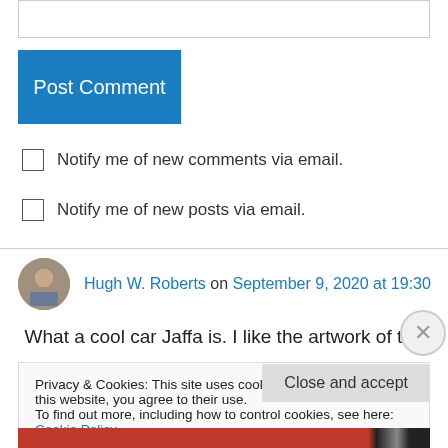[Figure (screenshot): Text input box at top of page (comment form field)]
Post Comment
Notify me of new comments via email.
Notify me of new posts via email.
Hugh W. Roberts on September 9, 2020 at 19:30
What a cool car Jaffa is. I like the artwork of the
Privacy & Cookies: This site uses cookies. By continuing to use this website, you agree to their use.
To find out more, including how to control cookies, see here: Cookie Policy
Close and accept